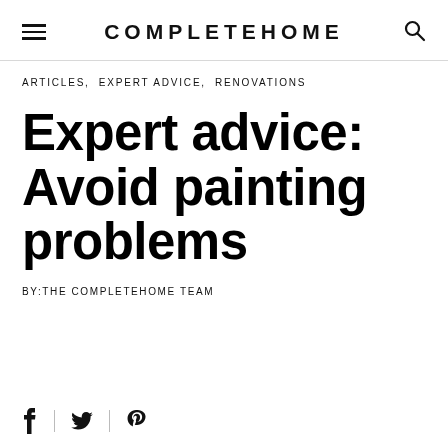COMPLETEHOME
ARTICLES, EXPERT ADVICE, RENOVATIONS
Expert advice: Avoid painting problems
BY:THE COMPLETEHOME TEAM